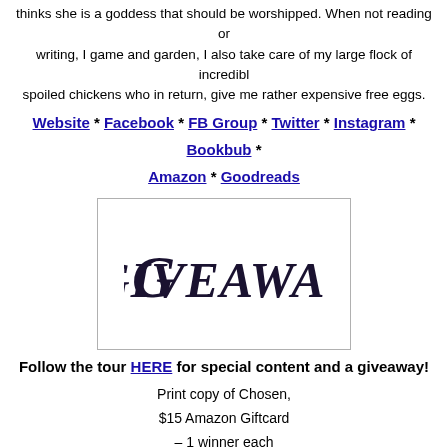thinks she is a goddess that should be worshipped. When not reading or writing, I game and garden, I also take care of my large flock of incredibly spoiled chickens who in return, give me rather expensive free eggs.
Website * Facebook * FB Group * Twitter * Instagram * Bookbub * Amazon * Goodreads
[Figure (illustration): Decorative GIVEAWAY text in gothic/ornate style font inside a bordered box]
Follow the tour HERE for special content and a giveaway!
Print copy of Chosen,
$15 Amazon Giftcard
– 1 winner each
a Rafflecopter giveaway